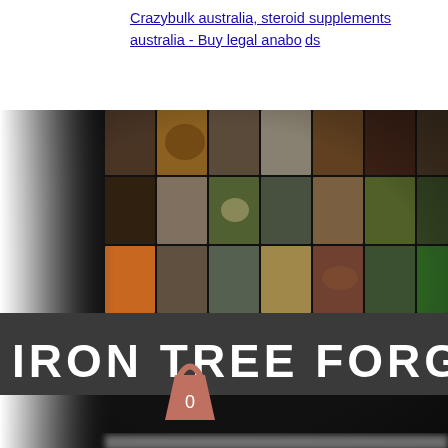Crazybulk australia, steroid supplements australia - Buy legal anabolic steroids
[Figure (screenshot): Screenshot of Iron Tree Forge website showing a collage of food and craft images, the site name 'IRON TREE FORGE' in large white bold text on dark background, and a shopping bag icon with '0'. A red hamburger menu button is overlaid top-right. Bottom shows blurred navigation icons.]